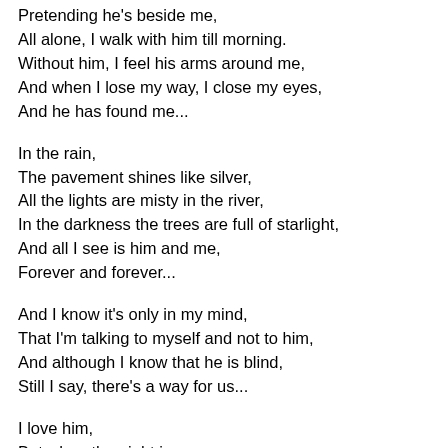Pretending he's beside me,
All alone, I walk with him till morning.
Without him, I feel his arms around me,
And when I lose my way, I close my eyes,
And he has found me...
In the rain,
The pavement shines like silver,
All the lights are misty in the river,
In the darkness the trees are full of starlight,
And all I see is him and me,
Forever and forever...
And I know it's only in my mind,
That I'm talking to myself and not to him,
And although I know that he is blind,
Still I say, there's a way for us...
I love him,
But when the night is over,
He is gone, the river's just a river
Without him the world around me changes,